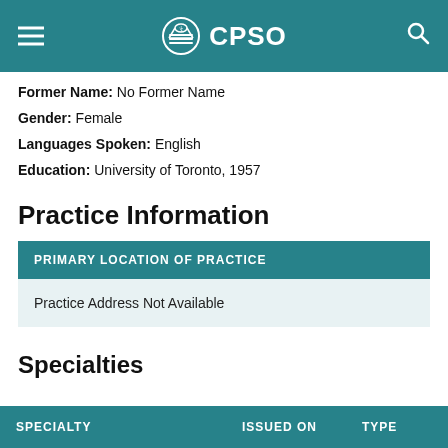CPSO
Former Name: No Former Name
Gender: Female
Languages Spoken: English
Education: University of Toronto, 1957
Practice Information
| PRIMARY LOCATION OF PRACTICE |
| --- |
| Practice Address Not Available |
Specialties
| SPECIALTY | ISSUED ON | TYPE |
| --- | --- | --- |